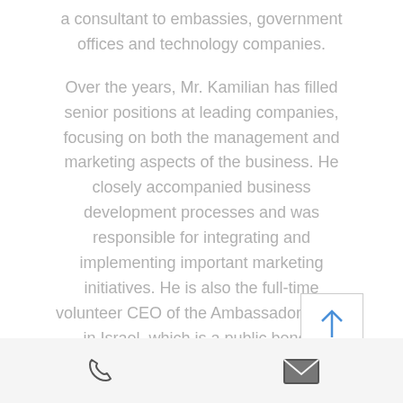a consultant to embassies, government offices and technology companies.
Over the years, Mr. Kamilian has filled senior positions at leading companies, focusing on both the management and marketing aspects of the business. He closely accompanied business development processes and was responsible for integrating and implementing important marketing initiatives. He is also the full-time volunteer CEO of the Ambassadors Club in Israel, which is a public benefit company whose vision is to strengthen the diplomatic community's ties with Israel.